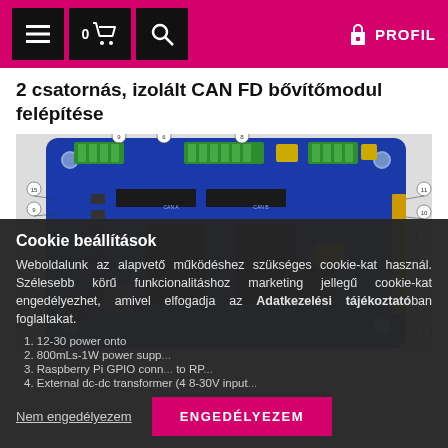Navigation header with menu, cart (0), search icons and PROFIL link
2 csatornás, izolált CAN FD bővítőmodul felépítése
[Figure (engineering-diagram): CAN FD expansion board PCB with numbered component callouts (circled numbers 1-19) pointing to various components on a blue PCB including connectors, ICs, and passive components]
Cookie beállítások
Weboldalunk az alapvető működéshez szükséges cookie-kat használ. Szélesebb körű funkcionalitáshoz marketing jellegű cookie-kat engedélyezhet, amivel elfogadja az Adatkezelési tájékoztatóban foglaltakat.
12-30 power onto
800mLs-1W power supp...
Raspberry Pi GPIO conn... to RP...
External dc-dc transformer (4 8-30V input...